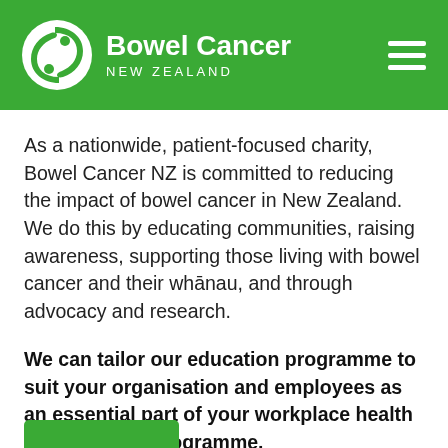Bowel Cancer NEW ZEALAND
As a nationwide, patient-focused charity, Bowel Cancer NZ is committed to reducing the impact of bowel cancer in New Zealand. We do this by educating communities, raising awareness, supporting those living with bowel cancer and their whānau, and through advocacy and research.
We can tailor our education programme to suit your organisation and employees as an essential part of your workplace health and wellness programme.